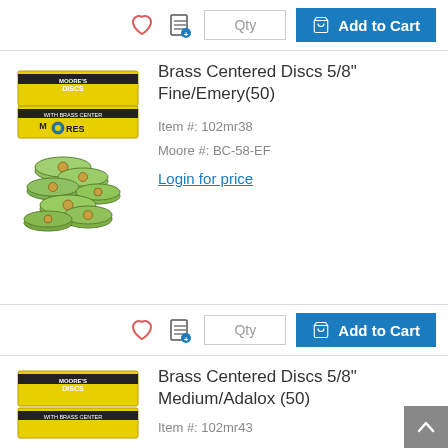[Figure (screenshot): Top action bar with heart icon, list icon, Qty input, and Add to Cart button]
[Figure (photo): Moore's Discs product box with green brass centered discs scattered in front]
Brass Centered Discs 5/8" Fine/Emery(50)
Item #: 102mr38
Moore #:  BC-58-EF
Login for price
[Figure (screenshot): Bottom action bar with heart icon, list icon, Qty input, and Add to Cart button]
[Figure (photo): Moore's Discs product box partially visible at bottom]
Brass Centered Discs 5/8" Medium/Adalox (50)
Item #: 102mr43